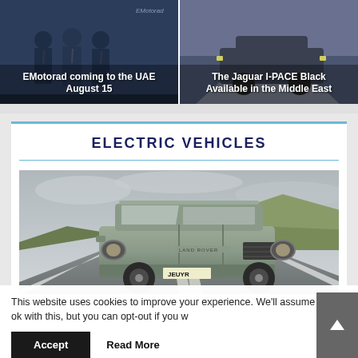[Figure (photo): Two thumbnail article cards side by side. Left card: Photo of people in suits with text overlay 'EMotorad coming to the UAE August 15'. Right card: Car on road with text overlay 'The Jaguar I-PACE Black Available in the Middle East'.]
EMotorad coming to the UAE August 15
The Jaguar I-PACE Black Available in the Middle East
ELECTRIC VEHICLES
[Figure (photo): Land Rover Defender SUV driving on a road through moorland/hills under an overcast grey sky. The vehicle is silver/grey coloured, driving towards the camera. License plate partially visible reading JEUYR.]
This website uses cookies to improve your experience. We'll assume you're ok with this, but you can opt-out if you wish.